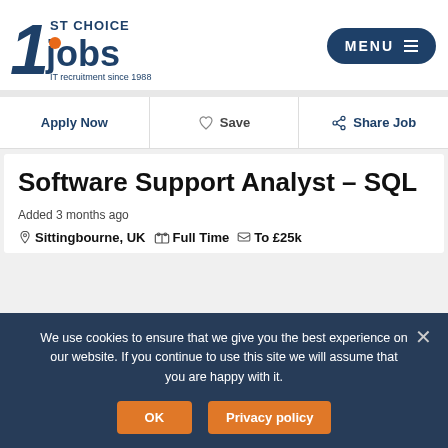[Figure (logo): 1st Choice Jobs logo - IT recruitment since 1988]
MENU
Apply Now   Save   Share Job
Software Support Analyst – SQL
Added 3 months ago
Sittingbourne, UK   Full Time   To £25k
We use cookies to ensure that we give you the best experience on our website. If you continue to use this site we will assume that you are happy with it.
OK   Privacy policy